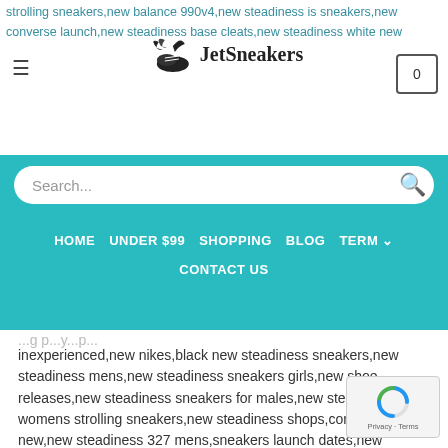strolling sneakers,new balance 990v4,new steadiness is sneakers,new converse launch,new steadiness base cleats,new steadiness white new
[Figure (logo): Jet Sneakers logo with winged shoe icon]
HOME  UNDER $99  SHOPPING  BLOG  TERM  CONTACT US
inexperienced,new nikes,black new steadiness sneakers,new steadiness mens,new steadiness sneakers girls,new shoe releases,new steadiness sneakers for males,new steadiness womens strolling sneakers,new steadiness shops,converse new,new steadiness 327 mens,sneakers launch dates,new steadiness shops,new releases jordans,house jams crocs,sneakers greatest,new steadiness skating sneakers,information sneakers